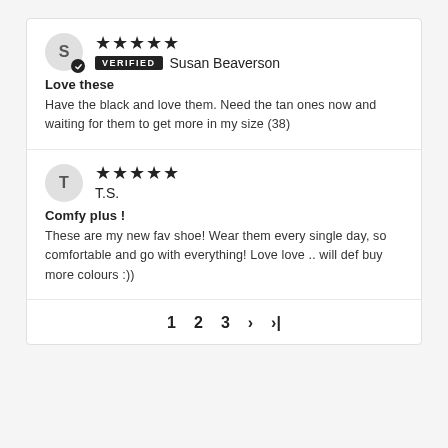★★★★★ Verified Susan Beaverson
Love these
Have the black and love them. Need the tan ones now and waiting for them to get more in my size (38)
★★★★★ T.S.
Comfy plus !
These are my new fav shoe! Wear them every single day, so comfortable and go with everything! Love love .. will def buy more colours :))
1  2  3  ›  ›|